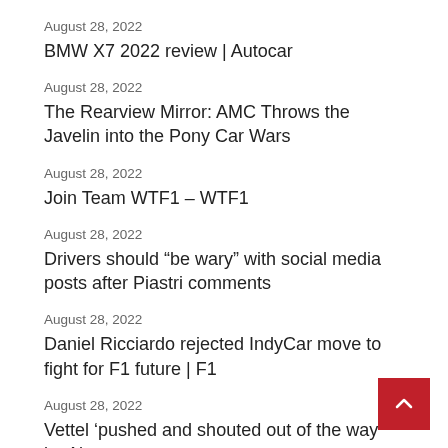August 28, 2022
BMW X7 2022 review | Autocar
August 28, 2022
The Rearview Mirror: AMC Throws the Javelin into the Pony Car Wars
August 28, 2022
Join Team WTF1 – WTF1
August 28, 2022
Drivers should “be wary” with social media posts after Piastri comments
August 28, 2022
Daniel Ricciardo rejected IndyCar move to fight for F1 future | F1
August 28, 2022
Vettel ‘pushed and shouted out of the way’ by Alons police escort!